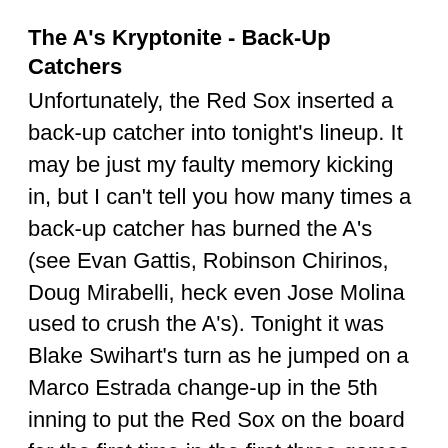The A's Kryptonite - Back-Up Catchers
Unfortunately, the Red Sox inserted a back-up catcher into tonight's lineup. It may be just my faulty memory kicking in, but I can't tell you how many times a back-up catcher has burned the A's (see Evan Gattis, Robinson Chirinos, Doug Mirabelli, heck even Jose Molina used to crush the A's). Tonight it was Blake Swihart's turn as he jumped on a Marco Estrada change-up in the 5th inning to put the Red Sox on the board for the first time in the first three games of the series.
Boston Scores Two More Times in the Sixth Inning to Tie the Game
Mookie Betts lead off with a walk (lead-off walks always hurt). After Estrada got a strikeout, he induced a tailor made double play to second baseman